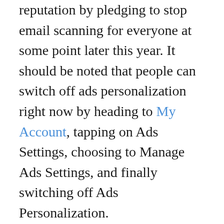reputation by pledging to stop email scanning for everyone at some point later this year. It should be noted that people can switch off ads personalization right now by heading to My Account, tapping on Ads Settings, choosing to Manage Ads Settings, and finally switching off Ads Personalization.
Also Read: Gmail users hit with massive Google Docs phishing scam
As noted above, Google will still display ads to individuals based on factors like